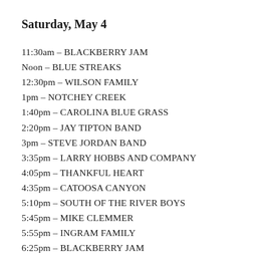Saturday, May 4
11:30am – BLACKBERRY JAM
Noon – BLUE STREAKS
12:30pm – WILSON FAMILY
1pm – NOTCHEY CREEK
1:40pm – CAROLINA BLUE GRASS
2:20pm – JAY TIPTON BAND
3pm – STEVE JORDAN BAND
3:35pm – LARRY HOBBS AND COMPANY
4:05pm – THANKFUL HEART
4:35pm – CATOOSA CANYON
5:10pm – SOUTH OF THE RIVER BOYS
5:45pm – MIKE CLEMMER
5:55pm – INGRAM FAMILY
6:25pm – BLACKBERRY JAM